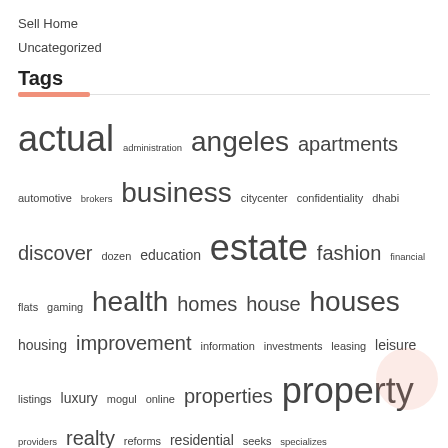Sell Home
Uncategorized
Tags
actual administration angeles apartments automotive brokers business citycenter confidentiality dhabi discover dozen education estate fashion financial flats gaming health homes house houses housing improvement information investments leasing leisure listings luxury mogul online properties property providers realty reforms residential seeks specializes technology tracy travel tutor